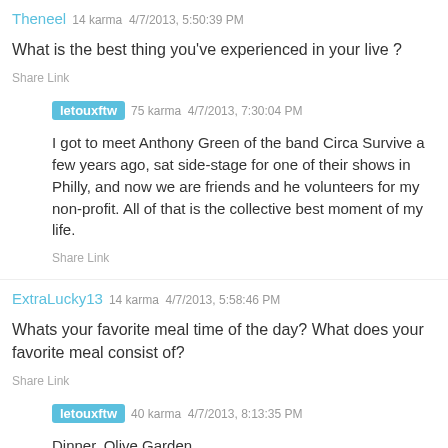Theneel 14 karma 4/7/2013, 5:50:39 PM
What is the best thing you've experienced in your live ?
Share Link
letouxftw 75 karma 4/7/2013, 7:30:04 PM
I got to meet Anthony Green of the band Circa Survive a few years ago, sat side-stage for one of their shows in Philly, and now we are friends and he volunteers for my non-profit. All of that is the collective best moment of my life.
Share Link
ExtraLucky13 14 karma 4/7/2013, 5:58:46 PM
Whats your favorite meal time of the day? What does your favorite meal consist of?
Share Link
letouxftw 40 karma 4/7/2013, 8:13:35 PM
Dinner. Olive Garden.
Share Link
MyLittleSisterIsHot 13 karma 4/7/2013, 6:16:59 PM